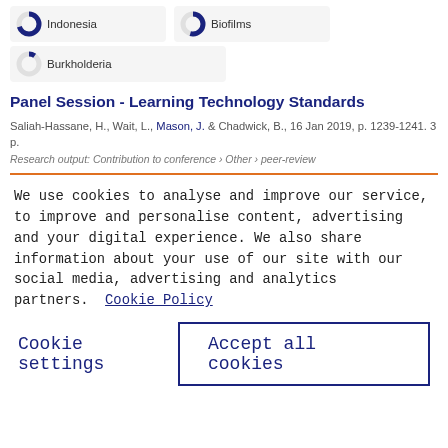[Figure (infographic): Donut badge showing Indonesia ~95% filled]
[Figure (infographic): Donut badge showing Biofilms ~80% filled]
[Figure (infographic): Donut badge showing Burkholderia ~35% filled]
Panel Session - Learning Technology Standards
Saliah-Hassane, H., Wait, L., Mason, J. & Chadwick, B., 16 Jan 2019, p. 1239-1241. 3 p.
Research output: Contribution to conference › Other › peer-review
We use cookies to analyse and improve our service, to improve and personalise content, advertising and your digital experience. We also share information about your use of our site with our social media, advertising and analytics partners.  Cookie Policy
Cookie settings
Accept all cookies